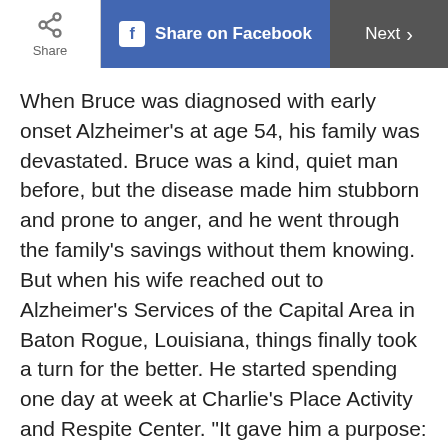Share | Share on Facebook | Next
When Bruce was diagnosed with early onset Alzheimer’s at age 54, his family was devastated. Bruce was a kind, quiet man before, but the disease made him stubborn and prone to anger, and he went through the family’s savings without them knowing. But when his wife reached out to Alzheimer’s Services of the Capital Area in Baton Rogue, Louisiana, things finally took a turn for the better. He started spending one day at week at Charlie’s Place Activity and Respite Center. “It gave him a purpose: fun activities, visitors, and a garden, which he loved,” writes his wife. When a flood forced the family to stay with a friend for four months, Charlie’s Place opened its arms to Bruce